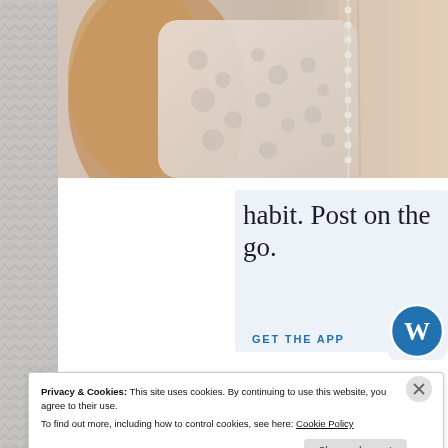[Figure (photo): Close-up photo of a woman's shoulder wearing a white/cream lace top or dress with decorative pearl or bead chain detail, against a blurred outdoor background with warm sunset tones.]
habit. Post on the go.
GET THE APP
[Figure (logo): WordPress circular logo in blue and white]
Privacy & Cookies: This site uses cookies. By continuing to use this website, you agree to their use.
To find out more, including how to control cookies, see here: Cookie Policy
Close and accept